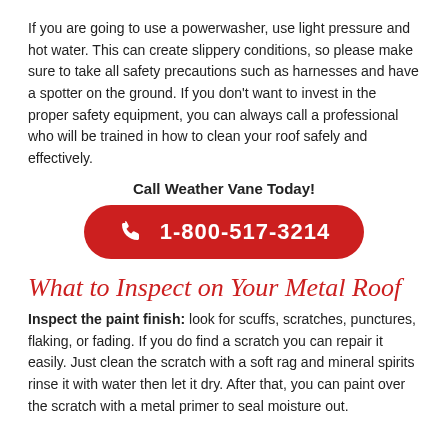If you are going to use a powerwasher, use light pressure and hot water. This can create slippery conditions, so please make sure to take all safety precautions such as harnesses and have a spotter on the ground. If you don't want to invest in the proper safety equipment, you can always call a professional who will be trained in how to clean your roof safely and effectively.
Call Weather Vane Today!
[Figure (infographic): Red rounded rectangle button with phone icon and phone number 1-800-517-3214 in white text]
What to Inspect on Your Metal Roof
Inspect the paint finish: look for scuffs, scratches, punctures, flaking, or fading. If you do find a scratch you can repair it easily. Just clean the scratch with a soft rag and mineral spirits rinse it with water then let it dry. After that, you can paint over the scratch with a metal primer to seal moisture out.